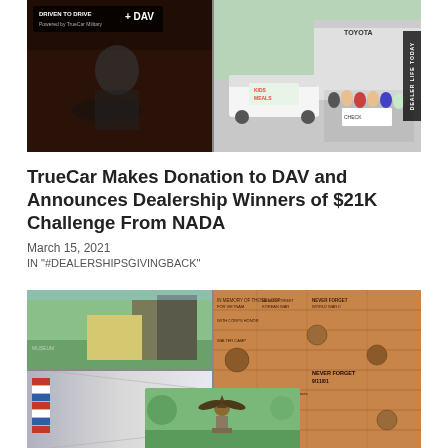[Figure (photo): Composite image: left side shows a person in a vehicle with 'Driven to Drive' and 'DAV' logos; right side shows a white van with 'Kids Meals' branding and a group of people outside a Toyota dealership, with a 'Dealer Life Today' badge on the right edge.]
TrueCar Makes Donation to DAV and Announces Dealership Winners of $21K Challenge From NADA
March 15, 2021
IN "#DEALERSHIPSGIVINGBACK"
[Figure (photo): Composite photo showing multiple images of a veterans memorial or museum: top-left is a modern building exterior with green lawn; top-right shows engraved memorial bricks with text including 'NEVER FORGET 9/11/01'; bottom-left shows flags along a corridor; bottom-center shows an eagle statue; bottom-right shows a curved modern building exterior.]